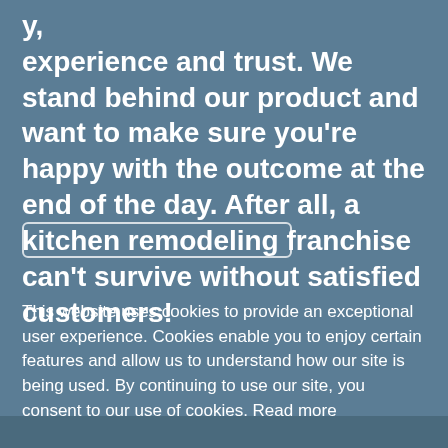experience and trust. We stand behind our product and want to make sure you're happy with the outcome at the end of the day. After all, a kitchen remodeling franchise can't survive without satisfied customers!
This website uses cookies to provide an exceptional user experience. Cookies enable you to enjoy certain features and allow us to understand how our site is being used. By continuing to use our site, you consent to our use of cookies. Read more